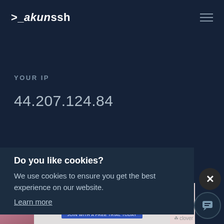>_akunssh
YOUR IP
44.207.124.84
SERVER RESET IN
17 hours, 42 minutes
Do you like cookies?
We use cookies to ensure you get the best experience on our website.
Learn more
[Figure (screenshot): Advertisement banner showing 'Got it!' and 'MEET LOCAL SINGLES' text with a photo of a woman and JOIN WITH A FREE TRIAL TODAY button]
×
[Figure (illustration): Chat bubble icon in dark circle button]